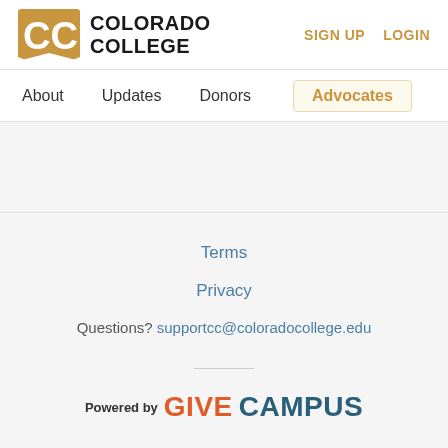[Figure (logo): Colorado College logo with golden CC emblem and bold black text reading COLORADO COLLEGE]
SIGN UP   LOGIN
About   Updates   Donors   Advocates
Terms
Privacy
Questions? supportcc@coloradocollege.edu
[Figure (logo): Powered by GIVECAMPUS logo, GIVE in orange and CAMPUS in dark teal]